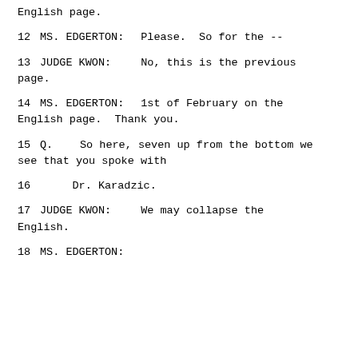English page.
12    MS. EDGERTON:  Please.  So for the --
13    JUDGE KWON:  No, this is the previous page.
14    MS. EDGERTON:  1st of February on the English page.  Thank you.
15    Q.  So here, seven up from the bottom we see that you spoke with
16    Dr. Karadzic.
17    JUDGE KWON:  We may collapse the English.
18    MS. EDGERTON: